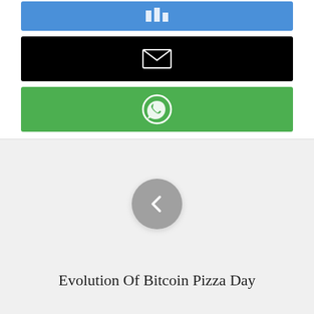[Figure (screenshot): Blue bar button with bar chart icon]
[Figure (screenshot): Black bar button with email/envelope icon]
[Figure (screenshot): Green bar button with WhatsApp icon]
[Figure (screenshot): Light grey panel with a grey circle left-arrow navigation button]
Evolution Of Bitcoin Pizza Day